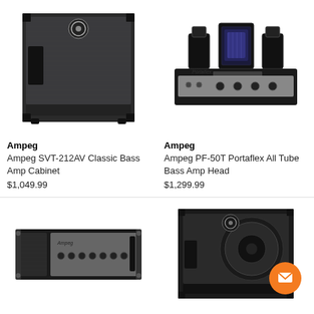[Figure (photo): Ampeg SVT-212AV Classic Bass Amp Cabinet — a large dark gray/black rectangular speaker cabinet with Ampeg logo]
[Figure (photo): Ampeg PF-50T Portaflex All Tube Bass Amp Head — a black amp head unit with tubes visible on top and control knobs on front]
Ampeg
Ampeg SVT-212AV Classic Bass Amp Cabinet
$1,049.99
Ampeg
Ampeg PF-50T Portaflex All Tube Bass Amp Head
$1,299.99
[Figure (photo): Ampeg bass amp head unit — black rack-mountable amp head with control panel visible]
[Figure (photo): Ampeg bass speaker cabinet — black cabinet with circular Ampeg logo, with orange chat button overlay]